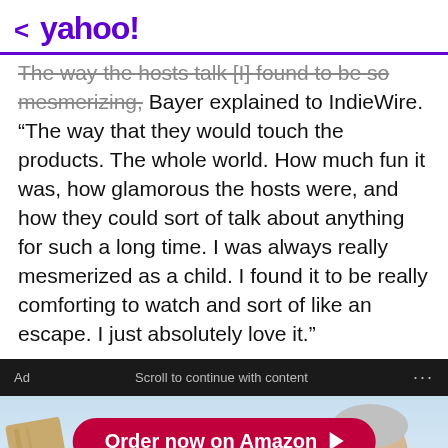< yahoo!
The way the hosts talk [I] found to be so mesmerizing, Bayer explained to IndieWire. “The way that they would touch the products. The whole world. How much fun it was, how glamorous the hosts were, and how they could sort of talk about anything for such a long time. I was always really mesmerized as a child. I found it to be really comforting to watch and sort of like an escape. I just absolutely love it.”
[Figure (photo): Advertisement banner with dark background showing 'Ad', 'Scroll to continue with content', and ellipsis. Below is an ad image with a light blue background, a red rounded button saying 'Order now on Amazon' with a right arrow, and a smiling older man with glasses holding a wooden object.]